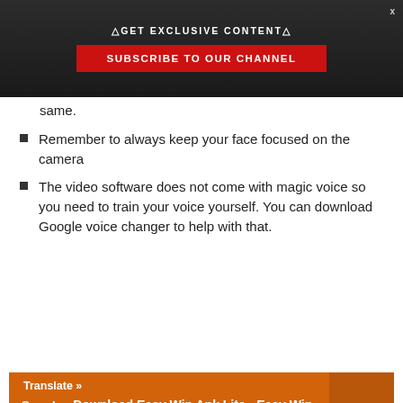[Figure (screenshot): Dark banner with triangles: AGET EXCLUSIVE CONTENTA, red SUBSCRIBE TO OUR CHANNEL button, X close icon]
same.
Remember to always keep your face focused on the camera
The video software does not come with magic voice so you need to train your voice yourself. You can download Google voice changer to help with that.
See also  Download Easy Win Apk Lite - Easy Win App Zambia 1.0.2 Free For Android
Download Theconvertas Video Cloning App For Yahoo Boys